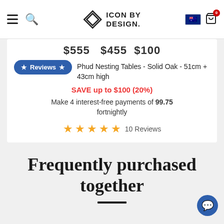Icon By Design
$555  $455 $100
★ Reviews ★
Phud Nesting Tables - Solid Oak - 51cm + 43cm high
SAVE up to $100 (20%)
Make 4 interest-free payments of 99.75 fortnightly
★★★★★ 10 Reviews
Frequently purchased together